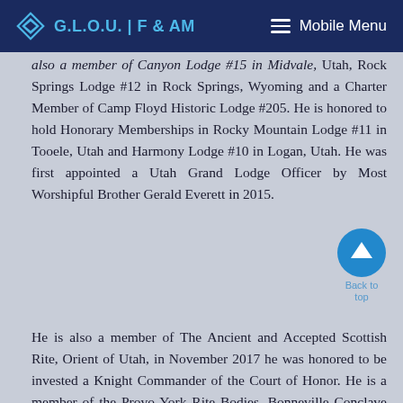G.L.O.U. | F & AM   Mobile Menu
also a member of Canyon Lodge #15 in Midvale, Utah, Rock Springs Lodge #12 in Rock Springs, Wyoming and a Charter Member of Camp Floyd Historic Lodge #205. He is honored to hold Honorary Memberships in Rocky Mountain Lodge #11 in Tooele, Utah and Harmony Lodge #10 in Logan, Utah. He was first appointed a Utah Grand Lodge Officer by Most Worshipful Brother Gerald Everett in 2015.
He is also a member of The Ancient and Accepted Scottish Rite, Orient of Utah, in November 2017 he was honored to be invested a Knight Commander of the Court of Honor. He is a member of the Provo York Rite Bodies, Bonneville Conclave Red Cross of Constantine and Salt Lake #114 National Sojourners.
In 2020 he was recognized by the International